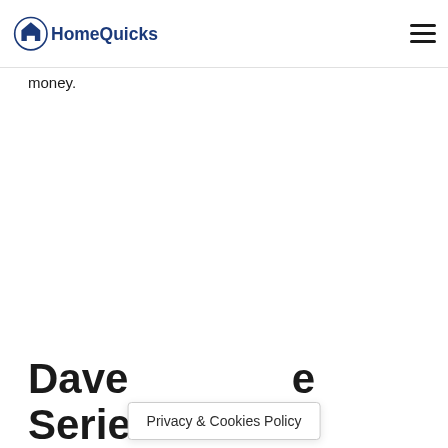HomeQuicks
money.
Dave [Privacy & Cookies Policy] e Series